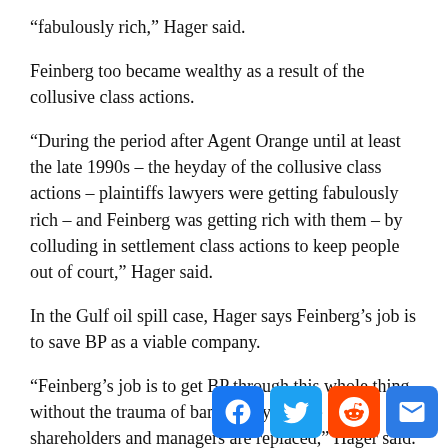“fabulously rich,” Hager said.
Feinberg too became wealthy as a result of the collusive class actions.
“During the period after Agent Orange until at least the late 1990s – the heyday of the collusive class actions – plaintiffs lawyers were getting fabulously rich – and Feinberg was getting rich with them – by colluding in settlement class actions to keep people out of court,” Hager said.
In the Gulf oil spill case, Hager says Feinberg’s job is to save BP as a viable company.
“Feinberg’s job is to get BP through this whole thing without the trauma of bankruptcy, where shareholders and managers are replaced,” Hager said.
“In fact, without the trauma of a very big impact on their bottom line at all.”